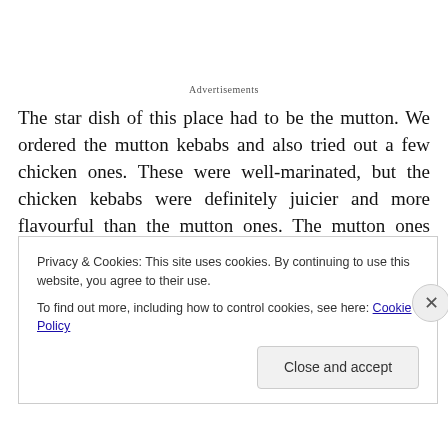Advertisements
The star dish of this place had to be the mutton. We ordered the mutton kebabs and also tried out a few chicken ones. These were well-marinated, but the chicken kebabs were definitely juicier and more flavourful than the mutton ones. The mutton ones unfortunately don't quite match up to what I remember in Xi'an. It all became clear when the proprietress told us that they used New Zealand
Privacy & Cookies: This site uses cookies. By continuing to use this website, you agree to their use.
To find out more, including how to control cookies, see here: Cookie Policy
Close and accept